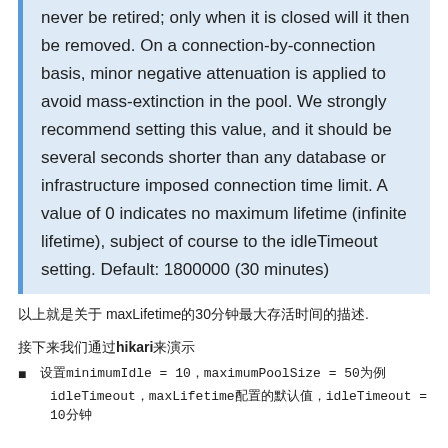never be retired; only when it is closed will it then be removed. On a connection-by-connection basis, minor negative attenuation is applied to avoid mass-extinction in the pool. We strongly recommend setting this value, and it should be several seconds shorter than any database or infrastructure imposed connection time limit. A value of 0 indicates no maximum lifetime (infinite lifetime), subject of course to the idleTimeout setting. Default: 1800000 (30 minutes)
以上就是关于 maxLifetime的30分钟最大存活时间的描述.
接下来我们通过hikari来演示
设置minimumIdle = 10，maximumPoolSize = 50为例
idleTimeout，maxLifetime配置的默认值，idleTimeout = 10分钟